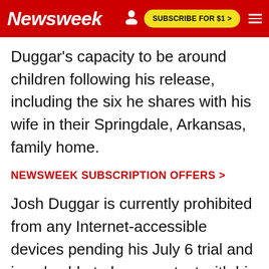Newsweek | SUBSCRIBE FOR $1 >
Duggar's capacity to be around children following his release, including the six he shares with his wife in their Springdale, Arkansas, family home.
NEWSWEEK SUBSCRIPTION OFFERS >
Josh Duggar is currently prohibited from any Internet-accessible devices pending his July 6 trial and is only able to have contact with his children with his wife present, according to orders made by U.S. District Judge Christy Comstock on Friday. He is also not able to d…